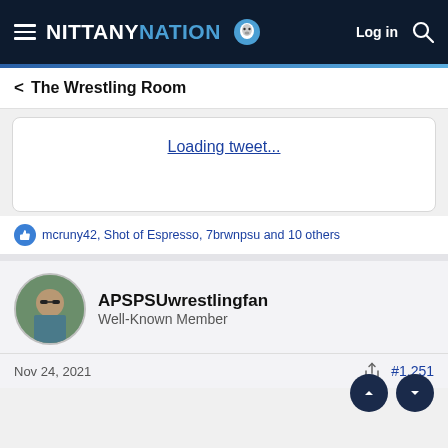NITTANY NATION — Log in
The Wrestling Room
Loading tweet...
mcruny42, Shot of Espresso, 7brwnpsu and 10 others
APSPSUwrestlingfan
Well-Known Member
Nov 24, 2021  #1,251